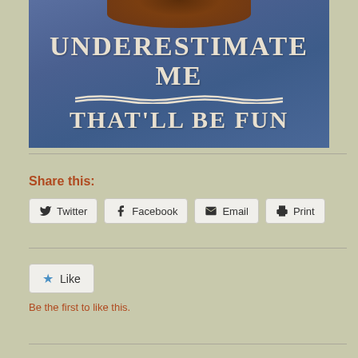[Figure (photo): Close-up photo of a person wearing a blue heathered t-shirt with white text reading 'UNDERESTIMATE ME THAT'LL BE FUN', with curly brown hair visible at the top]
Share this:
Twitter  Facebook  Email  Print
Like
Be the first to like this.